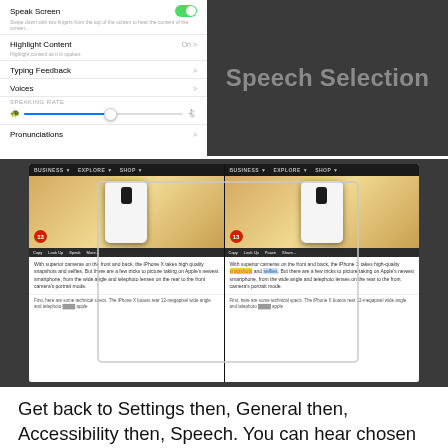[Figure (screenshot): iOS Accessibility Speech settings panel showing Speak Screen toggle (on), Highlight Content, Typing Feedback, Voices, Speaking Rate slider, and Pronunciations. Right side shows 'Speech Selection' label in dark background.]
[Figure (screenshot): Side-by-side comparison of a browser showing an iPhone X article. Left pane shows normal view, right pane shows text highlighted with Speech Selection active. Both show the same article with iPhone X camera image, action bar, and article text about iPhone X cameras.]
Get back to Settings then, General then, Accessibility then, Speech. You can hear chosen text read resoundingly. Turn on the switch for Speech Selection. Select